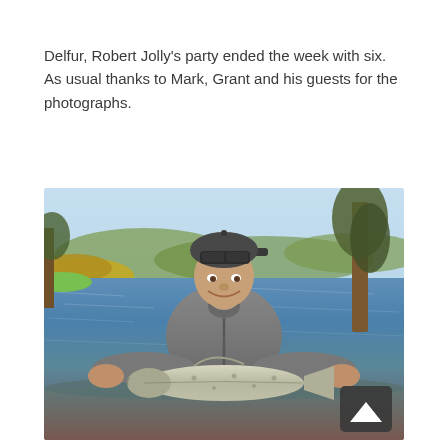Delfur, Robert Jolly's party ended the week with six. As usual thanks to Mark, Grant and his guests for the photographs.
[Figure (photo): A man wearing a dark cap with sunglasses on the brim and a grey fishing jacket stands in or near a river, holding a large salmon in both hands. The background shows a wide river with rippling blue water, green and yellow riverbank vegetation, hills, and bare trees on the right. The setting is a spring day outdoors.]